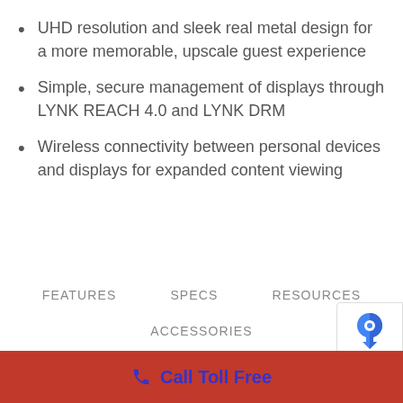UHD resolution and sleek real metal design for a more memorable, upscale guest experience
Simple, secure management of displays through LYNK REACH 4.0 and LYNK DRM
Wireless connectivity between personal devices and displays for expanded content viewing
FEATURES   SPECS   RESOURCES
ACCESSORIES
Call Toll Free